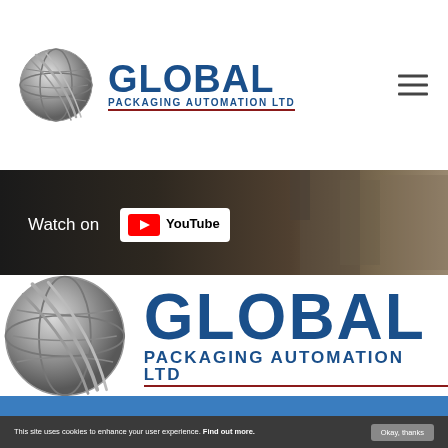[Figure (logo): Global Packaging Automation Ltd logo in header with globe icon and hamburger menu icon]
[Figure (screenshot): YouTube watch banner with dark background showing packaging machinery]
[Figure (logo): Global Packaging Automation Ltd large logo centered on white background]
This site uses cookies to enhance your user experience. Find out more.
Okay, thanks